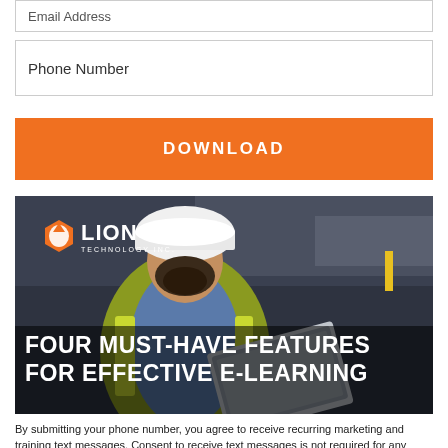Email Address
Phone Number
DOWNLOAD
[Figure (photo): A bearded man wearing a white hard hat and yellow safety vest looking at a laptop, with Lion Technology Inc. logo overlay and text reading FOUR MUST-HAVE FEATURES FOR EFFECTIVE E-LEARNING]
By submitting your phone number, you agree to receive recurring marketing and training text messages. Consent to receive text messages is not required for any purchases. Text STOP at any